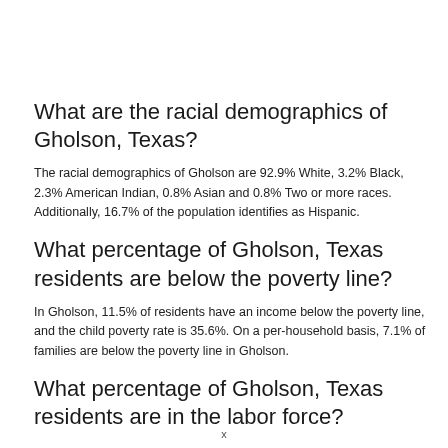What are the racial demographics of Gholson, Texas?
The racial demographics of Gholson are 92.9% White, 3.2% Black, 2.3% American Indian, 0.8% Asian and 0.8% Two or more races. Additionally, 16.7% of the population identifies as Hispanic.
What percentage of Gholson, Texas residents are below the poverty line?
In Gholson, 11.5% of residents have an income below the poverty line, and the child poverty rate is 35.6%. On a per-household basis, 7.1% of families are below the poverty line in Gholson.
What percentage of Gholson, Texas residents are in the labor force?